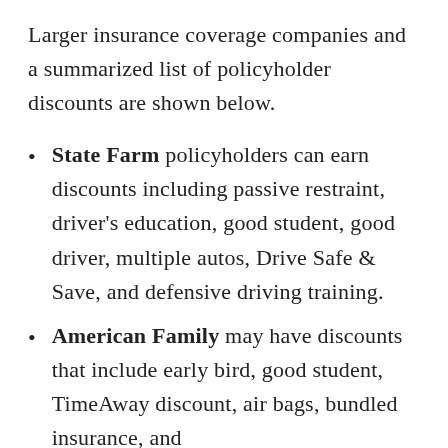Larger insurance coverage companies and a summarized list of policyholder discounts are shown below.
State Farm policyholders can earn discounts including passive restraint, driver's education, good student, good driver, multiple autos, Drive Safe & Save, and defensive driving training.
American Family may have discounts that include early bird, good student, TimeAway discount, air bags, bundled insurance, and